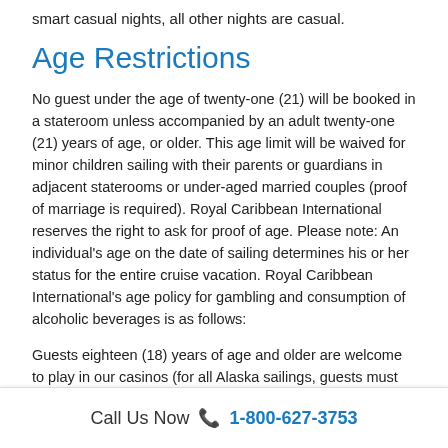smart casual nights, all other nights are casual.
Age Restrictions
No guest under the age of twenty-one (21) will be booked in a stateroom unless accompanied by an adult twenty-one (21) years of age, or older. This age limit will be waived for minor children sailing with their parents or guardians in adjacent staterooms or under-aged married couples (proof of marriage is required). Royal Caribbean International reserves the right to ask for proof of age. Please note: An individual's age on the date of sailing determines his or her status for the entire cruise vacation. Royal Caribbean International's age policy for gambling and consumption of alcoholic beverages is as follows:
Guests eighteen (18) years of age and older are welcome to play in our casinos (for all Alaska sailings, guests must be 21 years of age in order to play in our casinos).
Guests eighteen to twenty (18-20) years of age are welcome to
Call Us Now 📞 1-800-627-3753